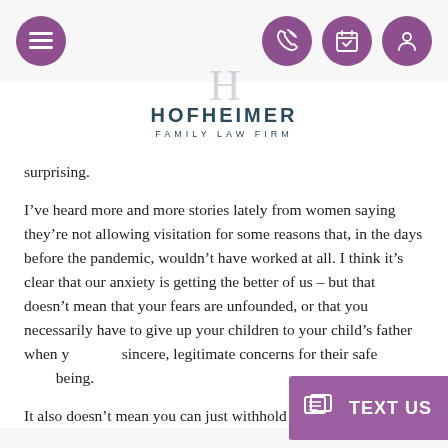[Navigation bar with menu icon, phone icon, calendar icon, profile icon]
[Figure (logo): Hofheimer Family Law Firm logo with stylized H lettermark]
surprising.
I’ve heard more and more stories lately from women saying they’re not allowing visitation for some reasons that, in the days before the pandemic, wouldn’t have worked at all. I think it’s clear that our anxiety is getting the better of us – but that doesn’t mean that your fears are unfounded, or that you necessarily have to give up your children to your child’s father when you have sincere, legitimate concerns for their safety and well-being.
It also doesn’t mean you can just withhold your children